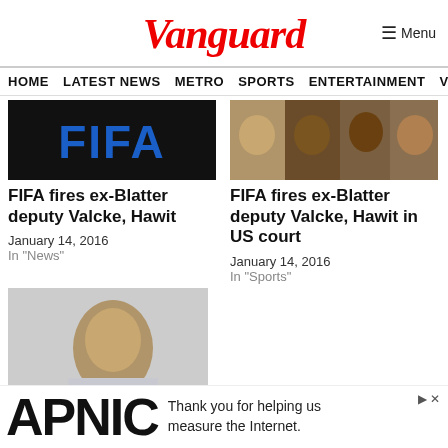Vanguard
HOME   LATEST NEWS   METRO   SPORTS   ENTERTAINMENT   VIDEOS
[Figure (photo): FIFA logo on black background]
FIFA fires ex-Blatter deputy Valcke, Hawit
January 14, 2016
In "News"
[Figure (photo): Group of men, FIFA officials]
FIFA fires ex-Blatter deputy Valcke, Hawit in US court
January 14, 2016
In "Sports"
[Figure (photo): Side profile of elderly man in suit]
APNIC   Thank you for helping us measure the Internet.